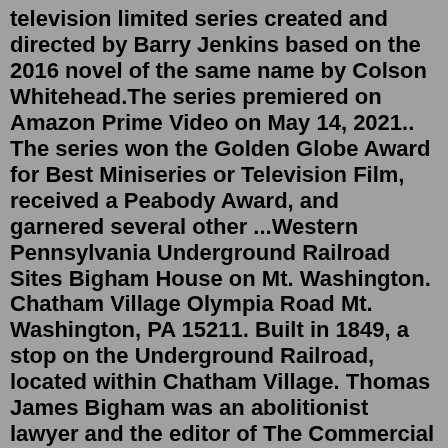television limited series created and directed by Barry Jenkins based on the 2016 novel of the same name by Colson Whitehead.The series premiered on Amazon Prime Video on May 14, 2021.. The series won the Golden Globe Award for Best Miniseries or Television Film, received a Peabody Award, and garnered several other ...Western Pennsylvania Underground Railroad Sites Bigham House on Mt. Washington. Chatham Village Olympia Road Mt. Washington, PA 15211. Built in 1849, a stop on the Underground Railroad, located within Chatham Village. Thomas James Bigham was an abolitionist lawyer and the editor of The Commercial Journal Anti-Slavery Newspaper. It was a name given to the way that people escaped. No one is sure where it originally got its name, but the "underground" part of the name comes from its secrecy and the "railroad" part of the name comes from the way it was used to transport people. Conductors and Stations. The Underground Railroad used railroad terms in its organization. Underground Railroad NPS.gov Home Journey to